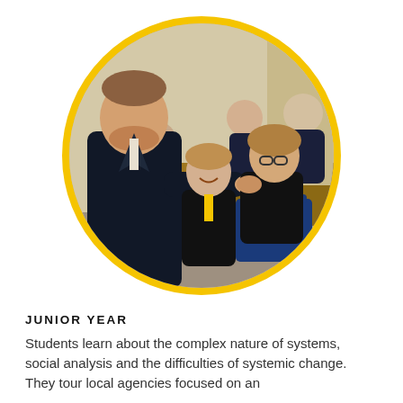[Figure (photo): A man in a dark suit shaking hands with a seated student in a conference room setting, with other students seated around a table in the background, enclosed in a circular frame with a yellow border.]
JUNIOR YEAR
Students learn about the complex nature of systems, social analysis and the difficulties of systemic change. They tour local agencies focused on an